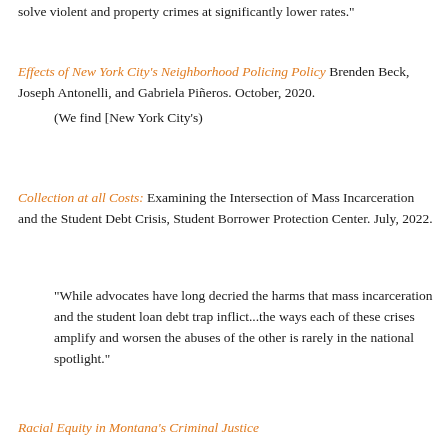solve violent and property crimes at significantly lower rates."
Effects of New York City's Neighborhood Policing Policy Brenden Beck, Joseph Antonelli, and Gabriela Piñeros. October, 2020.
(We find [New York City's)
Collection at all Costs: Examining the Intersection of Mass Incarceration and the Student Debt Crisis, Student Borrower Protection Center. July, 2022.
"While advocates have long decried the harms that mass incarceration and the student loan debt trap inflict...the ways each of these crises amplify and worsen the abuses of the other is rarely in the national spotlight."
Racial Equity in Montana's Criminal Justice